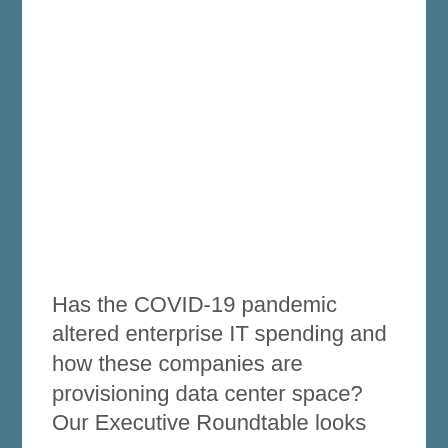Has the COVID-19 pandemic altered enterprise IT spending and how these companies are provisioning data center space? Our Executive Roundtable looks